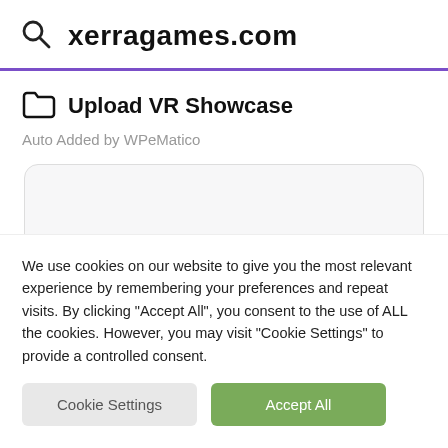xerragames.com
Upload VR Showcase
Auto Added by WPeMatico
[Figure (other): White rounded card/content area placeholder]
We use cookies on our website to give you the most relevant experience by remembering your preferences and repeat visits. By clicking "Accept All", you consent to the use of ALL the cookies. However, you may visit "Cookie Settings" to provide a controlled consent.
Cookie Settings | Accept All